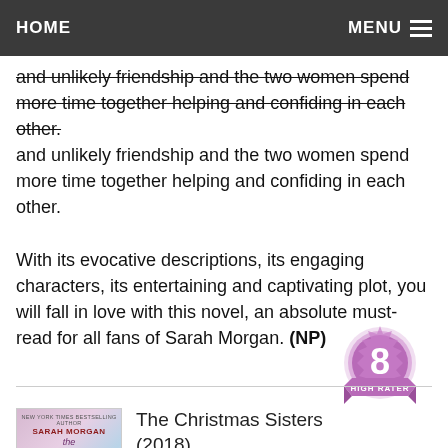HOME   MENU
and unlikely friendship and the two women spend more time together helping and confiding in each other.
With its evocative descriptions, its engaging characters, its entertaining and captivating plot, you will fall in love with this novel, an absolute must-read for all fans of Sarah Morgan. (NP)
[Figure (illustration): Purple badge/seal with the number 8 and text HIGH RATER underneath]
[Figure (photo): Book cover of The Christmas Sisters by Sarah Morgan (2018)]
The Christmas Sisters (2018)
Suzanne is happy because this year she will have all her three